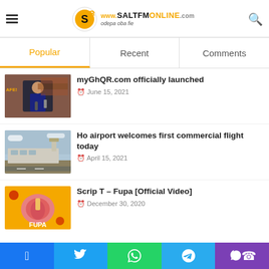www.SALTFMONLINE.com odepa oba fie
| Popular | Recent | Comments |
| --- | --- | --- |
[Figure (photo): Person speaking at microphone, brick wall behind]
myGhQR.com officially launched
June 15, 2021
[Figure (photo): Airport terminal building with control tower]
Ho airport welcomes first commercial flight today
April 15, 2021
[Figure (photo): Colorful album art on yellow background - Fupa]
Scrip T – Fupa [Official Video]
December 30, 2020
Facebook  Twitter  WhatsApp  Telegram  Phone